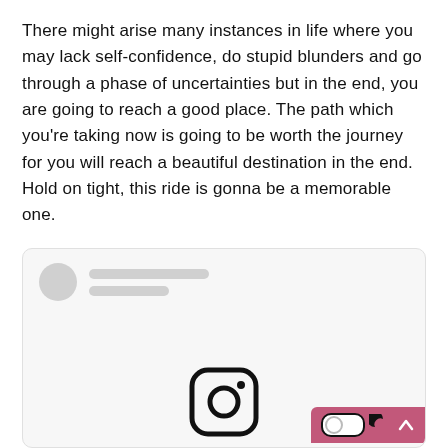There might arise many instances in life where you may lack self-confidence, do stupid blunders and go through a phase of uncertainties but in the end, you are going to reach a good place. The path which you're taking now is going to be worth the journey for you will reach a beautiful destination in the end. Hold on tight, this ride is gonna be a memorable one.
[Figure (screenshot): A social media post card UI with a blurred/placeholder avatar circle and two gray placeholder lines for username, and an Instagram logo icon at the bottom center. A dark mode toggle and up-arrow button appear at the bottom right corner on a pink/mauve background.]